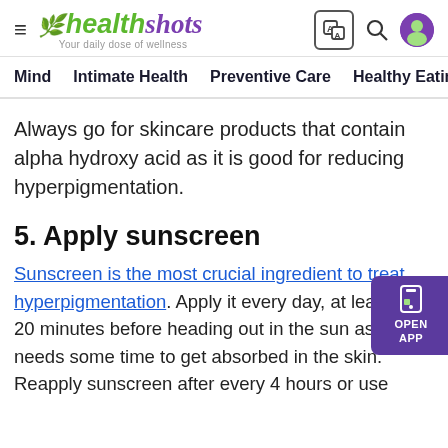healthshots — Your daily dose of wellness
Mind   Intimate Health   Preventive Care   Healthy Eating   F
Always go for skincare products that contain alpha hydroxy acid as it is good for reducing hyperpigmentation.
5. Apply sunscreen
Sunscreen is the most crucial ingredient to treat hyperpigmentation. Apply it every day, at least 15-20 minutes before heading out in the sun as it needs some time to get absorbed in the skin. Reapply sunscreen after every 4 hours or use